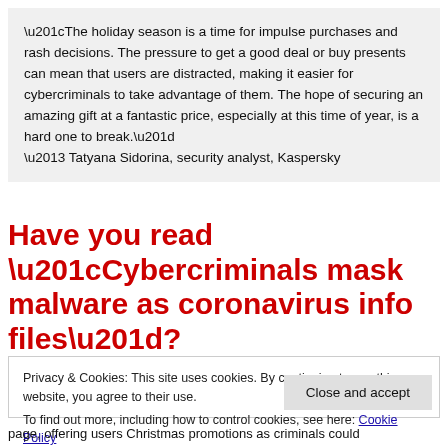“The holiday season is a time for impulse purchases and rash decisions. The pressure to get a good deal or buy presents can mean that users are distracted, making it easier for cybercriminals to take advantage of them. The hope of securing an amazing gift at a fantastic price, especially at this time of year, is a hard one to break.” – Tatyana Sidorina, security analyst, Kaspersky
Have you read “Cybercriminals mask malware as coronavirus info files”?
Privacy & Cookies: This site uses cookies. By continuing to use this website, you agree to their use.
To find out more, including how to control cookies, see here: Cookie Policy
Close and accept
page, offering users Christmas promotions as criminals could